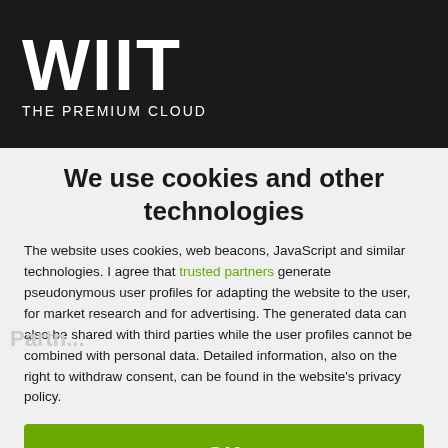[Figure (logo): WIIT logo with white bold text on dark/black background, subtitle THE PREMIUM CLOUD]
We use cookies and other technologies
The website uses cookies, web beacons, JavaScript and similar technologies. I agree that trusted partners generate pseudonymous user profiles for adapting the website to the user, for market research and for advertising. The generated data can also be shared with third parties while the user profiles cannot be combined with personal data. Detailed information, also on the right to withdraw consent, can be found in the website's privacy policy.
OK
Reject
More information